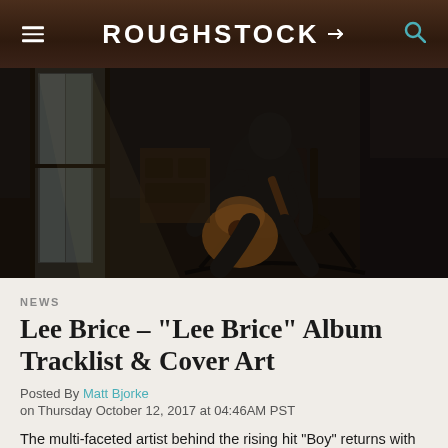ROUGHSTOCK
[Figure (photo): A person sitting in a rocking chair holding an acoustic guitar in a darkened room near a window]
NEWS
Lee Brice – "Lee Brice" Album Tracklist & Cover Art
Posted By Matt Bjorke
on Thursday October 12, 2017 at 04:46AM PST
The multi-faceted artist behind the rising hit "Boy" returns with 15 track new record which features Warren Haynes and Edwin McCain.